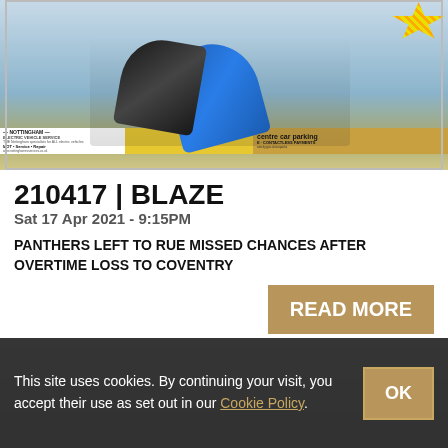[Figure (photo): Ice hockey action photo showing players from Nottingham Panthers and Coventry Blaze on the ice, with rink-side advertisements including Nottingham Electric Vehicle Services and city centre car parking banners]
210417 | BLAZE
Sat 17 Apr 2021 - 9:15PM
PANTHERS LEFT TO RUE MISSED CHANCES AFTER OVERTIME LOSS TO COVENTRY
READ MORE
This site uses cookies. By continuing your visit, you accept their use as set out in our Cookie Policy.